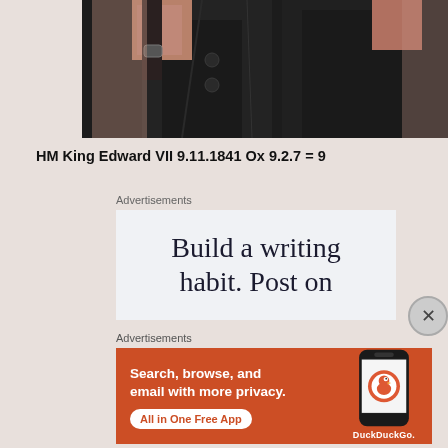[Figure (photo): Close-up photo of dark coats, hands visible, appears to be people in formal dark clothing]
HM King Edward VII 9.11.1841 Ox 9.2.7 = 9
Advertisements
[Figure (screenshot): Advertisement: Build a writing habit. Post on]
[Figure (screenshot): DuckDuckGo advertisement: Search, browse, and email with more privacy. All in One Free App]
Advertisements